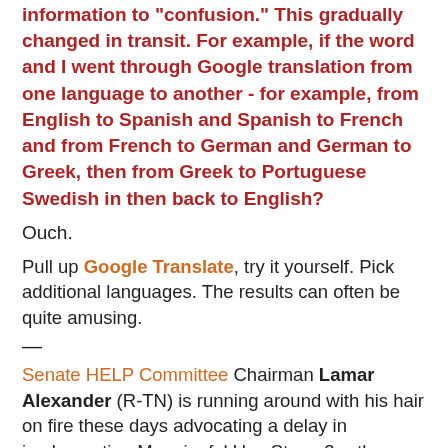information to "confusion." This gradually changed in transit. For example, if the word and I went through Google translation from one language to another - for example, from English to Spanish and Spanish to French and from French to German and German to Greek, then from Greek to Portuguese Swedish in then back to English?
Ouch.
Pull up Google Translate, try it yourself. Pick additional languages. The results can often be quite amusing.
—
Senate HELP Committee Chairman Lamar Alexander (R-TN) is running around with his hair on fire these days advocating a delay in implementing Meaningful Use Stage 3 -- the core of his gripe being the lack of progress on "interoperability."